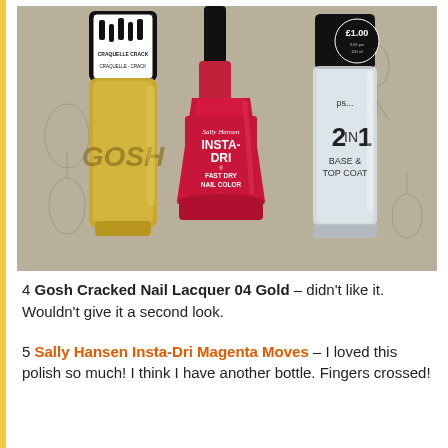[Figure (photo): Three nail polish bottles on a patterned fabric background. Left: GOSH Craquelle/Cracked nail lacquer in gold. Center: Sally Hansen Insta-Dri Fast Dry Nail Color in pink/magenta (0.31 fl oz / 9.17 ml). Right: PS... 2 in 1 Base & Top Coat with £1.00 price sticker.]
4 Gosh Cracked Nail Lacquer 04 Gold – didn't like it. Wouldn't give it a second look.
5 Sally Hansen Insta-Dri Magenta Moves – I loved this polish so much! I think I have another bottle. Fingers crossed!